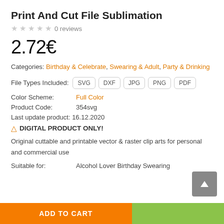Print And Cut File Sublimation
0 reviews
2.72€
Categories: Birthday & Celebrate, Swearing & Adult, Party & Drinking
File Types Included: SVG DXF JPG PNG PDF
Color Scheme: Full Color
Product Code: 354svg
Last update product: 16.12.2020
⚠ DIGITAL PRODUCT ONLY!
Original cuttable and printable vector & raster clip arts for personal and commercial use
Suitable for: Alcohol Lover Birthday Swearing
ADD TO CART